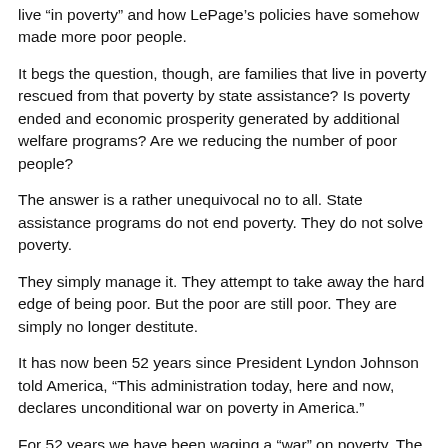live “in poverty” and how LePage’s policies have somehow made more poor people.
It begs the question, though, are families that live in poverty rescued from that poverty by state assistance? Is poverty ended and economic prosperity generated by additional welfare programs? Are we reducing the number of poor people?
The answer is a rather unequivocal no to all. State assistance programs do not end poverty. They do not solve poverty.
They simply manage it. They attempt to take away the hard edge of being poor. But the poor are still poor. They are simply no longer destitute.
It has now been 52 years since President Lyndon Johnson told America, “This administration today, here and now, declares unconditional war on poverty in America.”
For 52 years we have been waging a “war” on poverty. The welfare programs that Johnson introduced in his “Great Society” program…